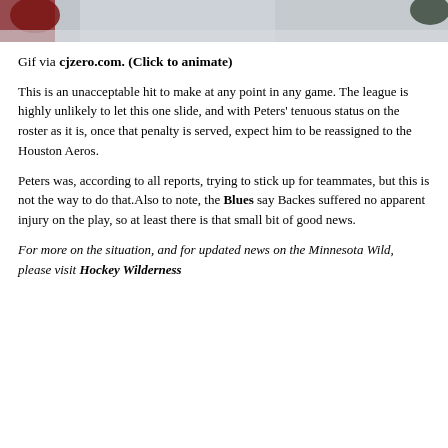[Figure (photo): Cropped top portion of a hockey game photo showing players on ice]
Gif via cjzero.com. (Click to animate)
This is an unacceptable hit to make at any point in any game. The league is highly unlikely to let this one slide, and with Peters' tenuous status on the roster as it is, once that penalty is served, expect him to be reassigned to the Houston Aeros.
Peters was, according to all reports, trying to stick up for teammates, but this is not the way to do that.Also to note, the Blues say Backes suffered no apparent injury on the play, so at least there is that small bit of good news.
For more on the situation, and for updated news on the Minnesota Wild, please visit Hockey Wilderness